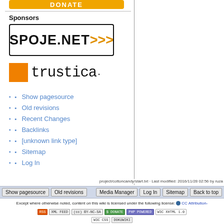[Figure (other): Yellow donate button (partial, cropped at top)]
Sponsors
[Figure (logo): SPOJE.NET >>> logo in black border box with orange arrows]
[Figure (logo): trustica logo with orange square and monospaced text]
Show pagesource
Old revisions
Recent Changes
Backlinks
[unknown link type]
Sitemap
Log In
project/cottoncandy/start.txt · Last modified: 2016/11/28 02:56 by ruza
Show pagesource | Old revisions | Media Manager | Log In | Sitemap | Back to top
Except where otherwise noted, content on this wiki is licensed under the following license: CC Attribution-Noncommercial-Share Alike 4.0 International
RSS XML FEED | (cc) BY-NC-SA | $ DONATE | PHP POWERED | W3C XHTML 1.0 | W3C CSS | DOKUWIKI